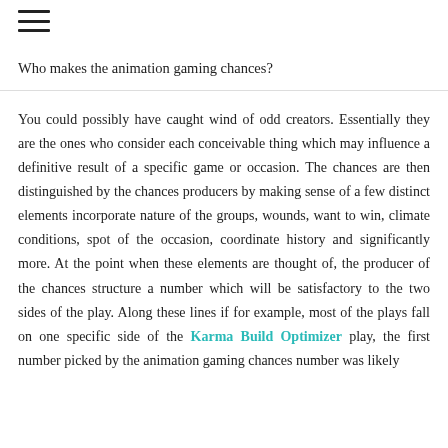≡
Who makes the animation gaming chances?
You could possibly have caught wind of odd creators. Essentially they are the ones who consider each conceivable thing which may influence a definitive result of a specific game or occasion. The chances are then distinguished by the chances producers by making sense of a few distinct elements incorporate nature of the groups, wounds, want to win, climate conditions, spot of the occasion, coordinate history and significantly more. At the point when these elements are thought of, the producer of the chances structure a number which will be satisfactory to the two sides of the play. Along these lines if for example, most of the plays fall on one specific side of the Karma Build Optimizer play, the first number picked by the animation gaming chances number was likely